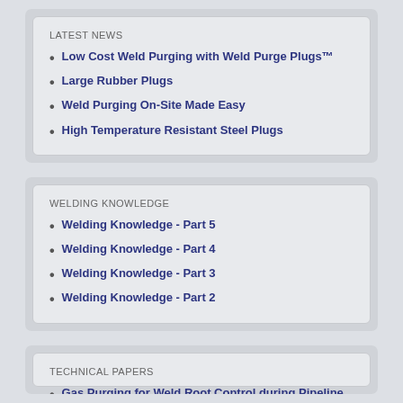LATEST NEWS
Low Cost Weld Purging with Weld Purge Plugs™
Large Rubber Plugs
Weld Purging On-Site Made Easy
High Temperature Resistant Steel Plugs
WELDING KNOWLEDGE
Welding Knowledge - Part 5
Welding Knowledge - Part 4
Welding Knowledge - Part 3
Welding Knowledge - Part 2
TECHNICAL PAPERS
Gas Purging for Weld Root Control during Pipeline